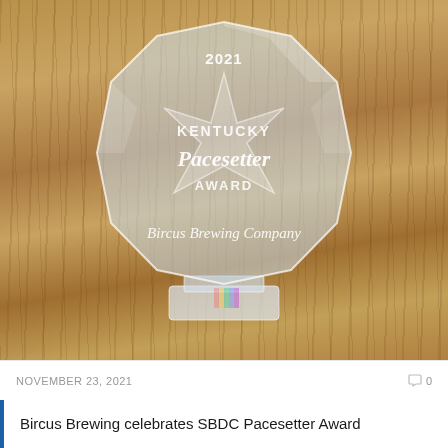[Figure (photo): A crystal glass award trophy engraved with '2021 KENTUCKY Pacesetter AWARD Bircus Brewing Company', placed on a wooden surface. The award has a faceted octagonal shape with a star design etched into the glass.]
NOVEMBER 23, 2021
0
Bircus Brewing celebrates SBDC Pacesetter Award